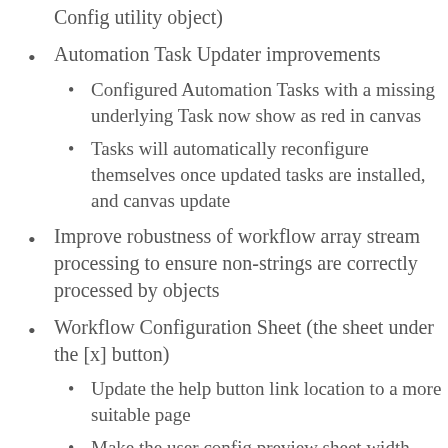Config utility object)
Automation Task Updater improvements
Configured Automation Tasks with a missing underlying Task now show as red in canvas
Tasks will automatically reconfigure themselves once updated tasks are installed, and canvas update
Improve robustness of workflow array stream processing to ensure non-strings are correctly processed by objects
Workflow Configuration Sheet (the sheet under the [x] button)
Update the help button link location to a more suitable page
Make the user config preview sheet width better match the live sheet to aid text decisions